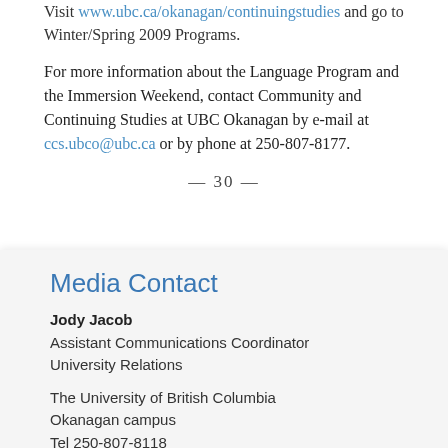Visit www.ubc.ca/okanagan/continuingstudies and go to Winter/Spring 2009 Programs.
For more information about the Language Program and the Immersion Weekend, contact Community and Continuing Studies at UBC Okanagan by e-mail at ccs.ubco@ubc.ca or by phone at 250-807-8177.
— 30 —
Media Contact
Jody Jacob
Assistant Communications Coordinator
University Relations
The University of British Columbia
Okanagan campus
Tel 250-807-8118